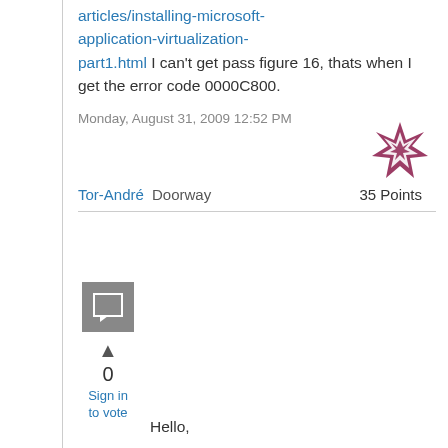articles/installing-microsoft-application-virtualization-part1.html I can't get pass figure 16, thats when I get the error code 0000C800.
Monday, August 31, 2009 12:52 PM
[Figure (other): User badge icon with decorative star/cross pattern in dark red/maroon]
Tor-André Doorway 35 Points
[Figure (other): Grey square reply/comment icon]
0
Sign in to vote
Hello,